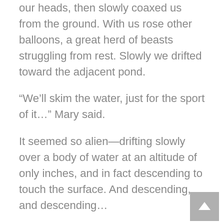our heads, then slowly coaxed us from the ground. With us rose other balloons, a great herd of beasts struggling from rest. Slowly we drifted toward the adjacent pond.
“We’ll skim the water, just for the sport of it…” Mary said.
It seemed so alien—drifting slowly over a body of water at an altitude of only inches, and in fact descending to touch the surface. And descending, and descending…
With water filtering through the weave of our basket, I wondered if I should’ve worn other shoes, not anticipating that balloon flight would wet the new ones I was wearing. As shoelaces submerged, I noted determination on Mary’s face, her relaxed touch changing to